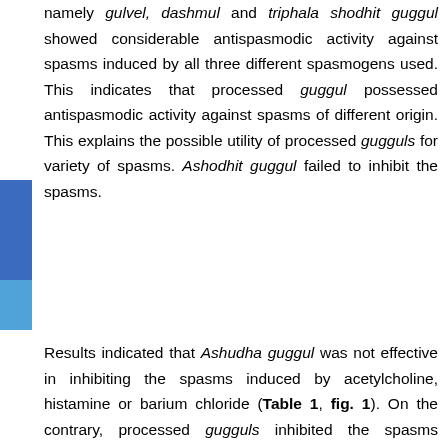namely gulvel, dashmul and triphala shodhit guggul showed considerable antispasmodic activity against spasms induced by all three different spasmogens used. This indicates that processed guggul possessed antispasmodic activity against spasms of different origin. This explains the possible utility of processed gugguls for variety of spasms. Ashodhit guggul failed to inhibit the spasms.
Results indicated that Ashudha guggul was not effective in inhibiting the spasms induced by acetylcholine, histamine or barium chloride (Table 1, fig. 1). On the contrary, processed gugguls inhibited the spasms induced by these spasmogens. Gulvel shodhit guggul showed maximum inhibition of